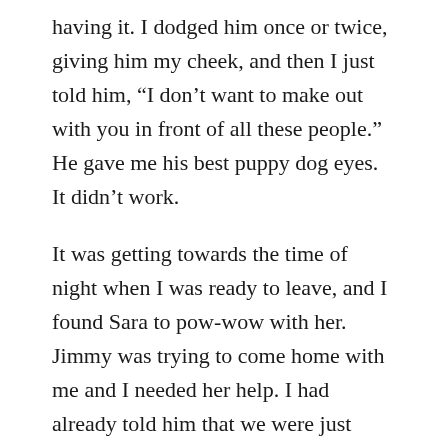having it. I dodged him once or twice, giving him my cheek, and then I just told him, “I don’t want to make out with you in front of all these people.” He gave me his best puppy dog eyes. It didn’t work.
It was getting towards the time of night when I was ready to leave, and I found Sara to pow-wow with her. Jimmy was trying to come home with me and I needed her help. I had already told him that we were just going home, but when he found out I lived in North Hollywood he insisted on giving us a ride. Which was super sweet! The only problem was that Sara, Jordan and I were going to a diner for late night food, and I had already invited another guy I had been talking with to come meet up with